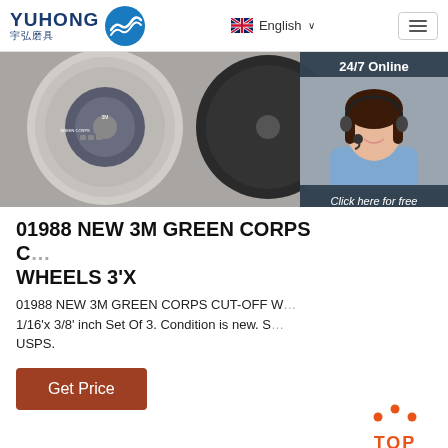YUHONG 宇弘磨具 | English
[Figure (photo): Product photo showing 3M Green Corps Cut-Off Wheels, circular grinding/cutting discs on a grey background, with a customer service representative overlay on the right showing a woman with headset and '24/7 Online' label, plus chat/quotation buttons]
01988 NEW 3M GREEN CORPS C... WHEELS 3'X
01988 NEW 3M GREEN CORPS CUT-OFF W... 1/16'x 3/8' inch Set Of 3. Condition is new. S... USPS.
Get Price
[Figure (illustration): TOP button with orange dots forming arch and orange TOP text]